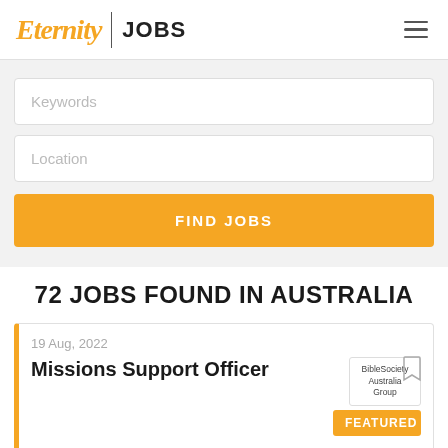Eternity | JOBS
Keywords
Location
FIND JOBS
72 JOBS FOUND IN AUSTRALIA
19 Aug, 2022
Missions Support Officer
FEATURED
Add value to your career in this